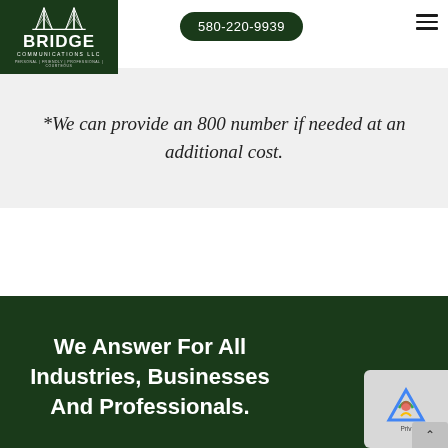[Figure (logo): Bridge Communications LLC logo — dark green square with white bridge graphic, BRIDGE in bold white, COMMUNICATIONS LLC below, tagline PERSONAL | FRIENDLY | PROFESSIONAL | COURTEOUS]
580-220-9939
*We can provide an 800 number if needed at an additional cost.
We Answer For All Industries, Businesses And Professionals.